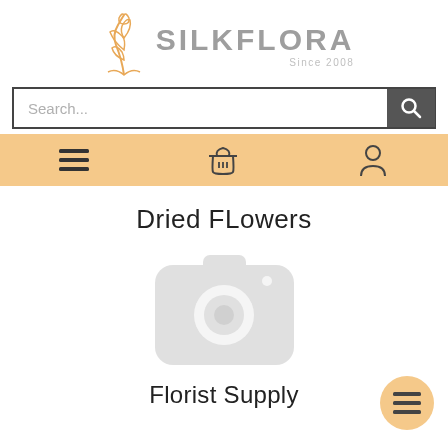[Figure (logo): SilkFlora logo with orange floral/leaf illustration and text SILKFLORA Since 2008]
[Figure (other): Search bar with Search... placeholder and magnifying glass button]
[Figure (other): Navigation bar with hamburger menu, basket icon, and user/account icon on orange background]
Dried FLowers
[Figure (other): Light gray camera placeholder image icon]
Florist Supply
[Figure (other): Floating action button with hamburger menu icon on orange/peach background, bottom right]